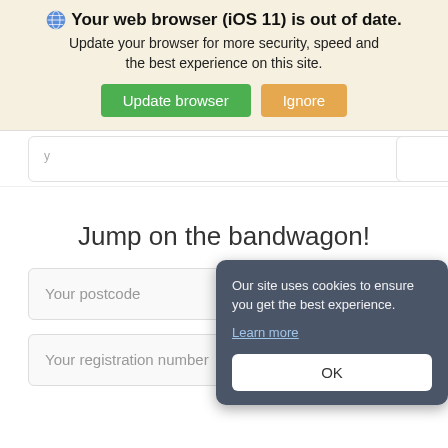Your web browser (iOS 11) is out of date.
Update your browser for more security, speed and the best experience on this site.
Update browser | Ignore
Jump on the bandwagon!
Your postcode
Our site uses cookies to ensure you get the best experience. Learn more
OK
Your registration number